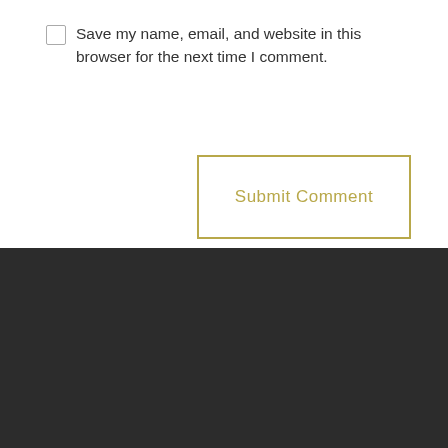Save my name, email, and website in this browser for the next time I comment.
Submit Comment
Imprint  Data privacy  Contact  Cooperations